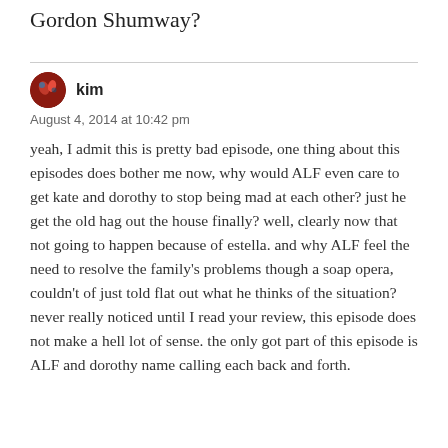Gordon Shumway?
kim
August 4, 2014 at 10:42 pm
yeah, I admit this is pretty bad episode, one thing about this episodes does bother me now, why would ALF even care to get kate and dorothy to stop being mad at each other? just he get the old hag out the house finally? well, clearly now that not going to happen because of estella. and why ALF feel the need to resolve the family's problems though a soap opera, couldn't of just told flat out what he thinks of the situation? never really noticed until I read your review, this episode does not make a hell lot of sense. the only got part of this episode is ALF and dorothy name calling each back and forth.